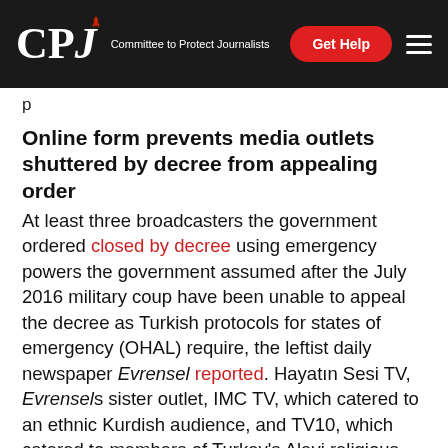CPJ — Committee to Protect Journalists
p
Online form prevents media outlets shuttered by decree from appealing order
At least three broadcasters the government ordered closed by decree using emergency powers the government assumed after the July 2016 military coup have been unable to appeal the decree as Turkish protocols for states of emergency (OHAL) require, the leftist daily newspaper Evrensel reported. Hayatın Sesi TV, Evrensel's sister outlet, IMC TV, which catered to an ethnic Kurdish audience, and TV10, which catered to members of Turkey's Alevi religious minority, have been unable to